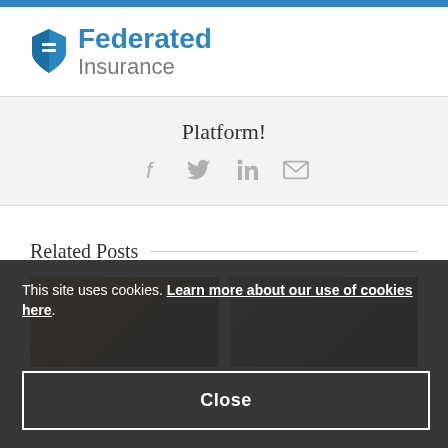[Figure (logo): Federated Insurance logo with blue shield icon and text]
Platform!
[Figure (infographic): Social sharing icons: Facebook, Twitter, LinkedIn, Email]
Related Posts
[Figure (photo): Left related post thumbnail image]
[Figure (photo): Right related post thumbnail image]
This site uses cookies. Learn more about our use of cookies here.
Close